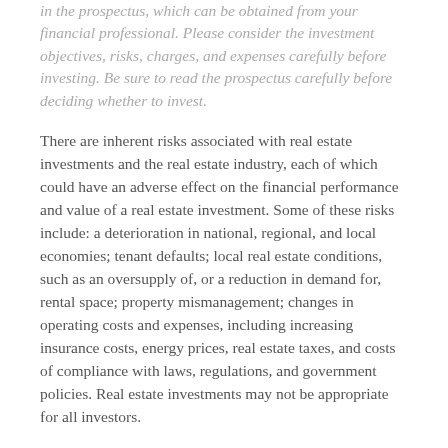in the prospectus, which can be obtained from your financial professional. Please consider the investment objectives, risks, charges, and expenses carefully before investing. Be sure to read the prospectus carefully before deciding whether to invest.
There are inherent risks associated with real estate investments and the real estate industry, each of which could have an adverse effect on the financial performance and value of a real estate investment. Some of these risks include: a deterioration in national, regional, and local economies; tenant defaults; local real estate conditions, such as an oversupply of, or a reduction in demand for, rental space; property mismanagement; changes in operating costs and expenses, including increasing insurance costs, energy prices, real estate taxes, and costs of compliance with laws, regulations, and government policies. Real estate investments may not be appropriate for all investors.